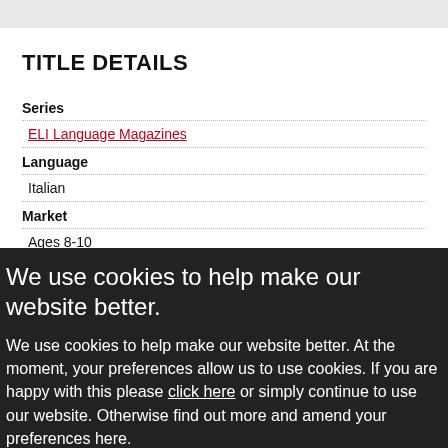TITLE DETAILS
Series
ELI Language Magazines
Language
Italian
Market
Ages 8-10
Level
We use cookies to help make our website better.
We use cookies to help make our website better. At the moment, your preferences allow us to use cookies. If you are happy with this please click here or simply continue to use our website. Otherwise find out more and amend your preferences here.